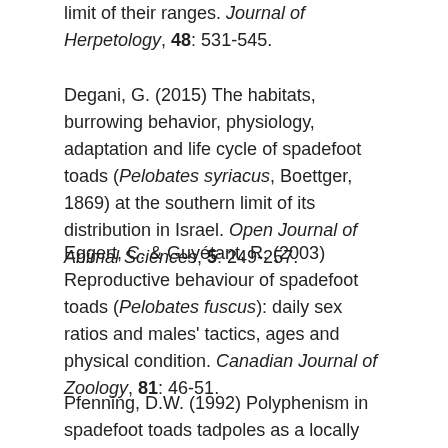limit of their ranges. Journal of Herpetology, 48: 531-545.
Degani, G. (2015) The habitats, burrowing behavior, physiology, adaptation and life cycle of spadefoot toads (Pelobates syriacus, Boettger, 1869) at the southern limit of its distribution in Israel. Open Journal of Animal Sciences, 5: 249-257.
Eggert, C. & Guyétant, R. (2003) Reproductive behaviour of spadefoot toads (Pelobates fuscus): daily sex ratios and males' tactics, ages and physical condition. Canadian Journal of Zoology, 81: 46-51.
Pfenning, D.W. (1992) Polyphenism in spadefoot toads tadpoles as a locally adjusted evolutionarily